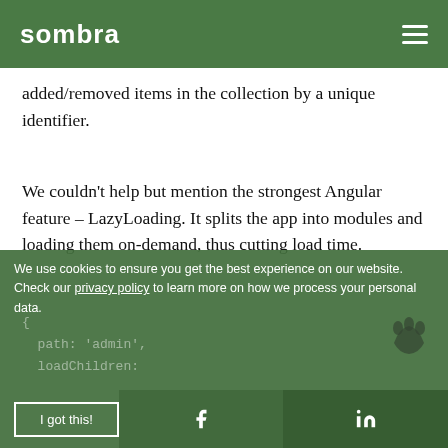sombra
added/removed items in the collection by a unique identifier.
We couldn't help but mention the strongest Angular feature – LazyLoading. It splits the app into modules and loading them on-demand, thus cutting load time.
We use cookies to ensure you get the best experience on our website. Check our privacy policy to learn more on how we process your personal data.
I got this!